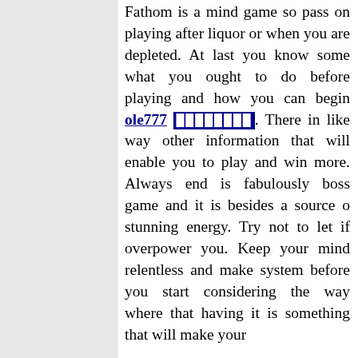Fathom is a mind game so pass on playing after liquor or when you are depleted. At last you know some what you ought to do before playing and how you can begin ole777 ████████. There in like way other information that will enable you to play and win more. Always end is fabulously boss game and it is besides a source o stunning energy. Try not to let if overpower you. Keep your mind relentless and make system before you start considering the way where that having it is something that will make your